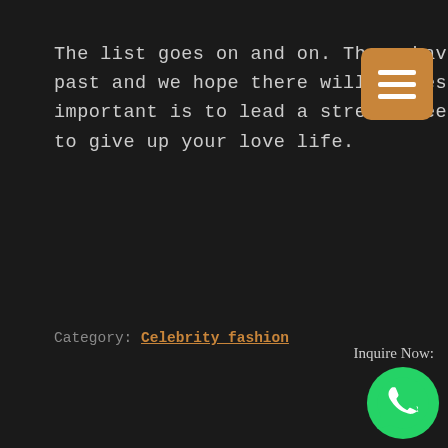The list goes on and on. There have been uncountable divorces in the past and we hope there will be lesser in future but what is most important is to lead a stress-free, and normal life even if you meant to give up your love life.
Category: Celebrity fashion
Posted on December 26, 2018 by TBG Admin — Leave a comment
ENTIRE WARDROBE OF ANUSHKA SHARMA WEDDING DRESS IN
[Figure (other): Orange hamburger menu button (three white horizontal lines on orange rounded rectangle background) in top right corner]
[Figure (other): WhatsApp chat icon (green circle with white phone/chat bubble icon) with 'Inquire Now:' label above it, bottom right corner]